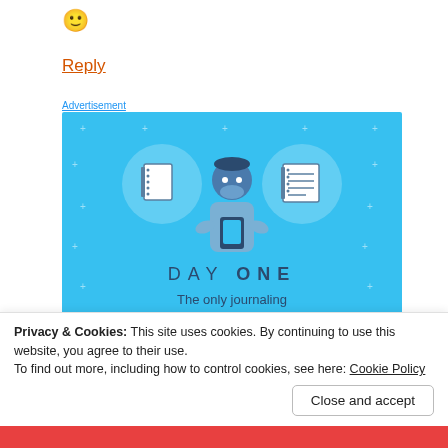🙂
Reply
[Figure (illustration): Day One journaling app advertisement banner with light blue background, showing a person holding a phone flanked by two circular icons (blank notebook and lined notebook), text 'DAY ONE - The only journaling app you'll ever need.' and a 'Get the app' button.]
Privacy & Cookies: This site uses cookies. By continuing to use this website, you agree to their use.
To find out more, including how to control cookies, see here: Cookie Policy
Close and accept